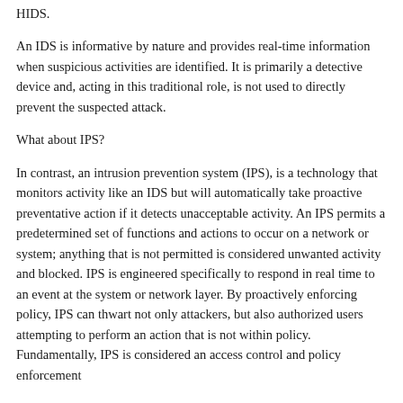HIDS.
An IDS is informative by nature and provides real-time information when suspicious activities are identified. It is primarily a detective device and, acting in this traditional role, is not used to directly prevent the suspected attack.
What about IPS?
In contrast, an intrusion prevention system (IPS), is a technology that monitors activity like an IDS but will automatically take proactive preventative action if it detects unacceptable activity. An IPS permits a predetermined set of functions and actions to occur on a network or system; anything that is not permitted is considered unwanted activity and blocked. IPS is engineered specifically to respond in real time to an event at the system or network layer. By proactively enforcing policy, IPS can thwart not only attackers, but also authorized users attempting to perform an action that is not within policy. Fundamentally, IPS is considered an access control and policy enforcement